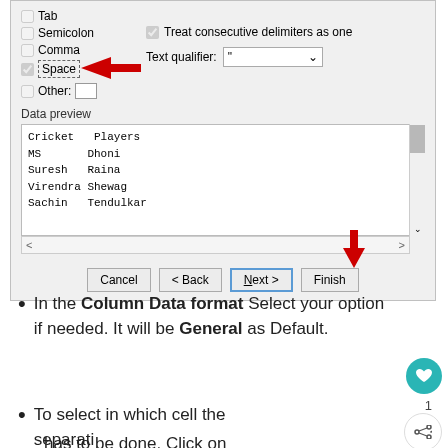[Figure (screenshot): Screenshot of Excel Text Import Wizard dialog showing delimiter options (Tab, Semicolon, Comma, Space checked with red arrow, Other) and Text qualifier dropdown, Data preview showing Cricket Players data table with MS Dhoni, Suresh Raina, Virendra Shewag, Sachin Tendulkar, and navigation buttons Cancel, Back, Next (highlighted with red arrow), Finish.]
In the Column Data format Select your option if needed. It will be General as Default.
To select in which cell the separation has to be done. Click on